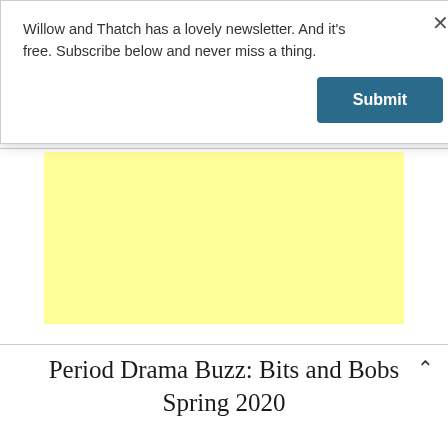Willow and Thatch has a lovely newsletter. And it's free. Subscribe below and never miss a thing.
Submit
[Figure (other): Yellow advertisement placeholder block]
Period Drama Buzz: Bits and Bobs Spring 2020